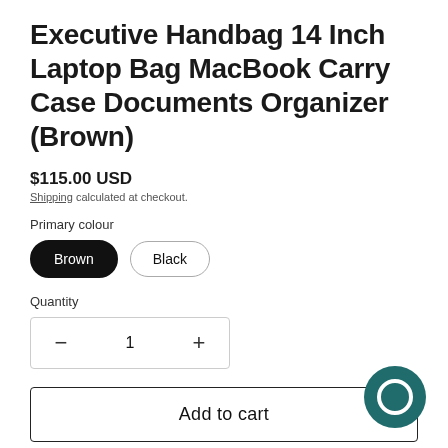Executive Handbag 14 Inch Laptop Bag MacBook Carry Case Documents Organizer (Brown)
$115.00 USD
Shipping calculated at checkout.
Primary colour
Brown
Black
Quantity
− 1 +
Add to cart